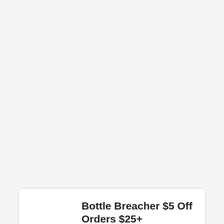Bottle Breacher $5 Off Orders $25+
Tap offer to backup the discount code. Make sure you mixture code if you take a look at. On the internet only.
[Figure (infographic): Advertisement banner for Mattress Firm showing In-store shopping, In-store pickup, and Delivery with checkmarks and a navigation arrow icon]